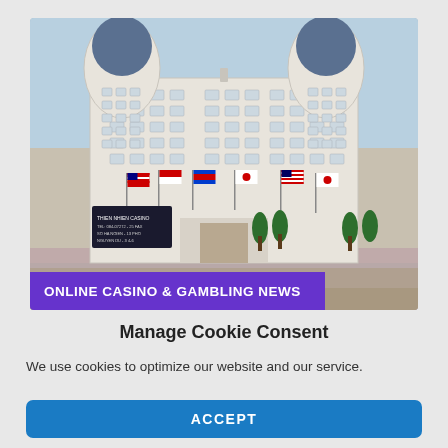[Figure (photo): Photograph of a large white casino building with blue domed towers on each side, multiple international flags displayed across the facade, signage in Vietnamese, palm trees and a plaza in front.]
ONLINE CASINO & GAMBLING NEWS
Manage Cookie Consent
We use cookies to optimize our website and our service.
ACCEPT